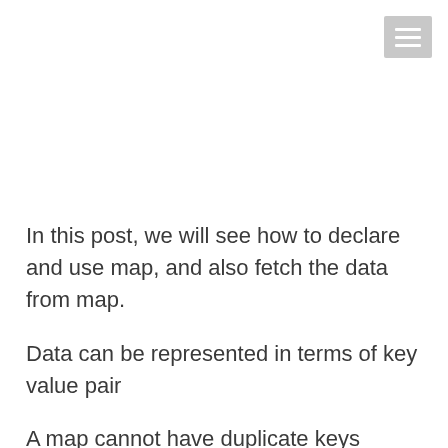[Figure (other): Hamburger menu icon in top-right corner]
In this post, we will see how to declare and use map, and also fetch the data from map.
Data can be represented in terms of key value pair
A map cannot have duplicate keys
Each key can contain one value and the value can be of any object from data structure or string and data